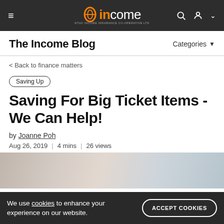NTUC Income | The Income Blog
The Income Blog
< Back to finance matters
Saving Up
Saving For Big Ticket Items - We Can Help!
by Joanne Poh
Aug 26, 2019 | 4 mins | 26 views
[Figure (photo): Interior room photo showing framed artwork on walls with light grey/blue tones]
We use cookies to enhance your experience on our website.
ACCEPT COOKIES